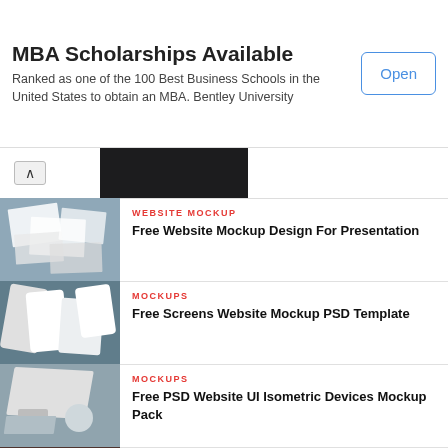MBA Scholarships Available
Ranked as one of the 100 Best Business Schools in the United States to obtain an MBA. Bentley University
[Figure (screenshot): Website mockup thumbnail showing scattered website design layouts]
WEBSITE MOCKUP
Free Website Mockup Design For Presentation
[Figure (screenshot): Multiple mobile and tablet screens showing website mockup PSD template]
MOCKUPS
Free Screens Website Mockup PSD Template
[Figure (screenshot): Isometric view of desktop computer and other devices showing website UI mockup]
MOCKUPS
Free PSD Website UI Isometric Devices Mockup Pack
[Figure (screenshot): Dark designer workplace scene with mockup elements]
MOCKUPS
Free Designer Workplace Website Mockup